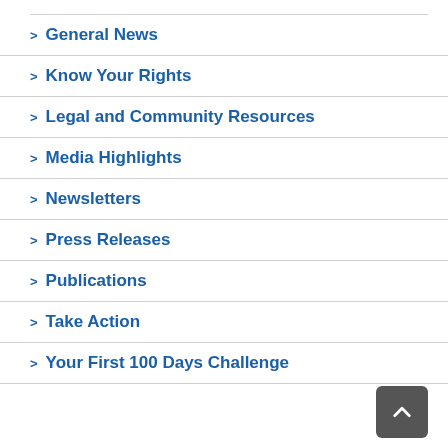> General News
> Know Your Rights
> Legal and Community Resources
> Media Highlights
> Newsletters
> Press Releases
> Publications
> Take Action
> Your First 100 Days Challenge